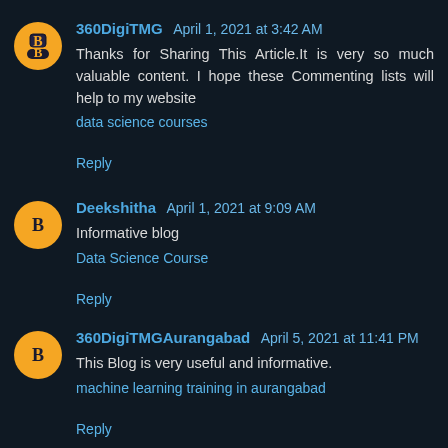360DigiTMG  April 1, 2021 at 3:42 AM
Thanks for Sharing This Article.It is very so much valuable content. I hope these Commenting lists will help to my website
data science courses
Reply
Deekshitha  April 1, 2021 at 9:09 AM
Informative blog
Data Science Course
Reply
360DigiTMGAurangabad  April 5, 2021 at 11:41 PM
This Blog is very useful and informative.
machine learning training in aurangabad
Reply